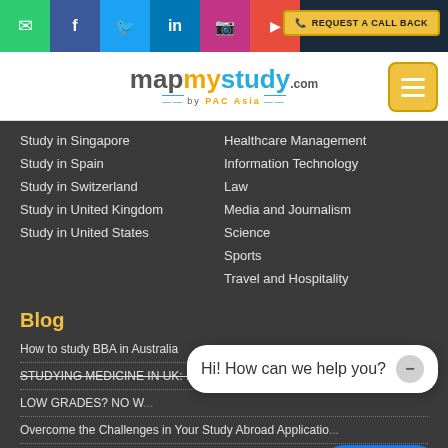[Figure (screenshot): Social media icon bar with email, Facebook, Twitter, LinkedIn, Instagram, YouTube icons and a Request a Call Back button]
[Figure (logo): MapMyStudy.com by PAC Asia logo with hamburger menu button]
Study in Singapore
Study in Spain
Study in Switzerland
Study in United Kingdom
Study in United States
Healthcare Management
Information Technology
Law
Media and Journalism
Science
Sports
Travel and Hospitality
Blog
How to study BBA in Australia
STUDYING MEDICINE IN UK: MADE EASY
LOW GRADES? NO W...
Overcome the Challenges in Your Study Abroad Applicatio...
VISA Refused? Check How to Relodge Your Student VISA